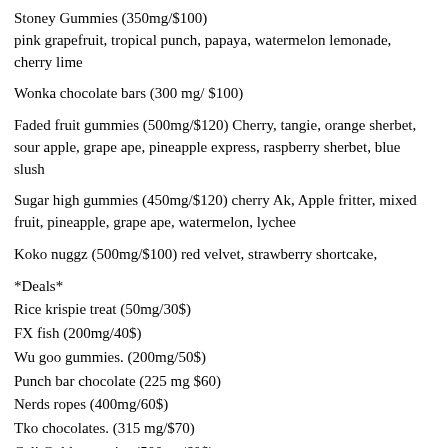Stoney Gummies (350mg/$100) pink grapefruit, tropical punch, papaya, watermelon lemonade, cherry lime
Wonka chocolate bars (300 mg/ $100)
Faded fruit gummies (500mg/$120) Cherry, tangie, orange sherbet, sour apple, grape ape, pineapple express, raspberry sherbet, blue slush
Sugar high gummies (450mg/$120) cherry Ak, Apple fritter, mixed fruit, pineapple, grape ape, watermelon, lychee
Koko nuggz (500mg/$100) red velvet, strawberry shortcake,
*Deals*
Rice krispie treat (50mg/30$)
FX fish (200mg/40$)
Wu goo gummies. (200mg/50$)
Punch bar chocolate (225 mg $60)
Nerds ropes (400mg/60$)
Tko chocolates. (315 mg/$70)
Cali Gold gummies (500mg/60$)
Space bar chocolate ($40/180mg)
Medibles - apple (250mg/40$)
Chronic confections. (500mg/$60) (blueberry, Blue razzbery, sour